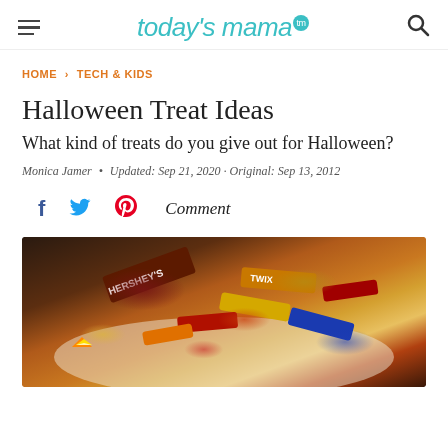today's mama (tm)
HOME › TECH & KIDS
Halloween Treat Ideas
What kind of treats do you give out for Halloween?
Monica Jamer • Updated: Sep 21, 2020 · Original: Sep 13, 2012
f  (twitter)  (pinterest)  Comment
[Figure (photo): A bowl filled with assorted Halloween candy including Hershey's bars, Twix, and other colorful treats viewed from above]